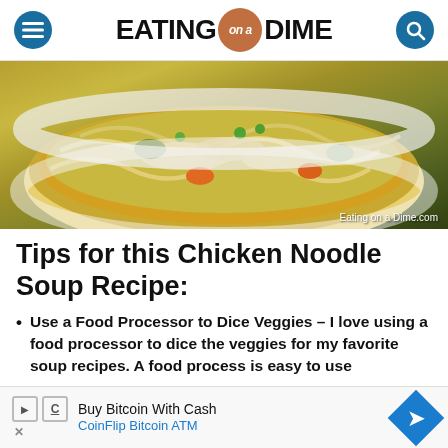EATING on a DIME
[Figure (photo): Close-up photo of chicken noodle soup in a white bowl with noodles, shredded chicken, carrots, celery, and broth, garnished with parsley. Watermark: Eating on a Dime.com]
Tips for this Chicken Noodle Soup Recipe:
Use a Food Processor to Dice Veggies – I love using a food processor to dice the veggies for my favorite soup recipes. A food process is easy to use…m sm…
Buy Bitcoin With Cash CoinFlip Bitcoin ATM